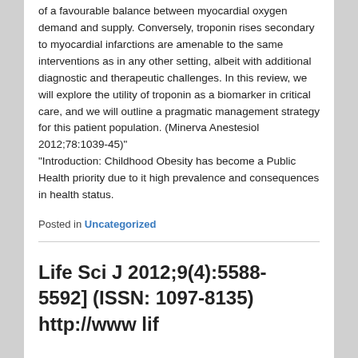of a favourable balance between myocardial oxygen demand and supply. Conversely, troponin rises secondary to myocardial infarctions are amenable to the same interventions as in any other setting, albeit with additional diagnostic and therapeutic challenges. In this review, we will explore the utility of troponin as a biomarker in critical care, and we will outline a pragmatic management strategy for this patient population. (Minerva Anestesiol 2012;78:1039-45)"
"Introduction: Childhood Obesity has become a Public Health priority due to it high prevalence and consequences in health status.
Posted in Uncategorized
Life Sci J 2012;9(4):5588-5592] (ISSN: 1097-8135) http://www lif